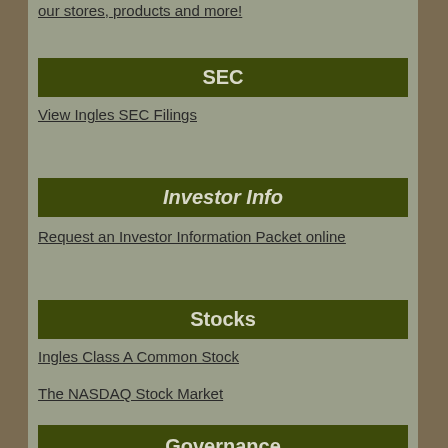our stores, products and more!
SEC
View Ingles SEC Filings
Investor Info
Request an Investor Information Packet online
Stocks
Ingles Class A Common Stock
The NASDAQ Stock Market
Governance